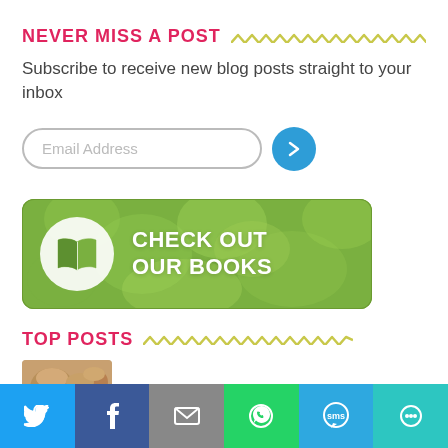NEVER MISS A POST
Subscribe to receive new blog posts straight to your inbox
[Figure (screenshot): Email address input field with rounded border and a blue circular submit button with a right-arrow chevron]
[Figure (illustration): Green decorative banner with book icon circle and text CHECK OUT OUR BOOKS]
TOP POSTS
[Figure (photo): Thumbnail photo of grain-free banana muffins]
Grain-Free Banana Muffins
[Figure (infographic): Social sharing bar with Twitter, Facebook, Email, WhatsApp, SMS, and share icons]